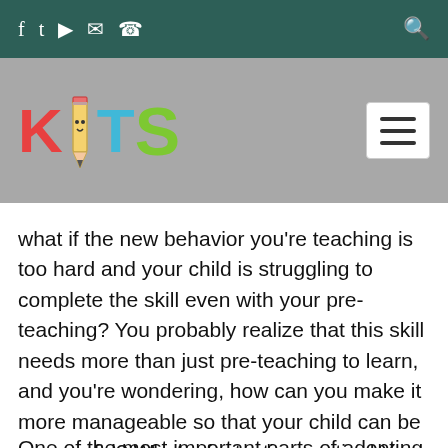f  ✓  ▶  ✉  ✆  [search icon] — KITS logo header bar
[Figure (logo): KITS logo with colorful letters K (red), I and T (blue), S (green) and a pencil icon between K and I, on a grey background]
what if the new behavior you're teaching is too hard and your child is struggling to complete the skill even with your pre-teaching? You probably realize that this skill needs more than just pre-teaching to learn, and you're wondering, how can you make it more manageable so that your child can be successful? What a fantastic question! You are such a supportive and thoughtful parent.
One of the most important parts of adopting a new